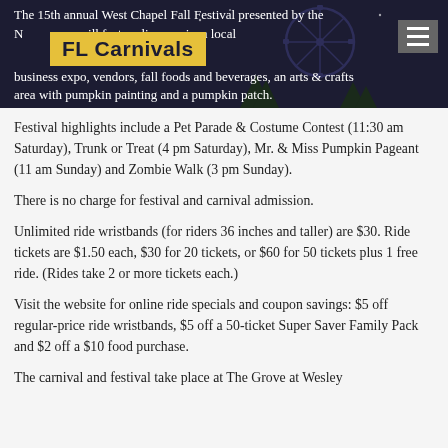The 15th annual West Chapel Fall Festival presented by the N... FL Carnivals ...will feature live music, a local business expo, vendors, fall foods and beverages, an arts & crafts area with pumpkin painting and a pumpkin patch.
Festival highlights include a Pet Parade & Costume Contest (11:30 am Saturday), Trunk or Treat (4 pm Saturday), Mr. & Miss Pumpkin Pageant (11 am Sunday) and Zombie Walk (3 pm Sunday).
There is no charge for festival and carnival admission.
Unlimited ride wristbands (for riders 36 inches and taller) are $30. Ride tickets are $1.50 each, $30 for 20 tickets, or $60 for 50 tickets plus 1 free ride. (Rides take 2 or more tickets each.)
Visit the website for online ride specials and coupon savings: $5 off regular-price ride wristbands, $5 off a 50-ticket Super Saver Family Pack and $2 off a $10 food purchase.
The carnival and festival take place at The Grove at Wesley...